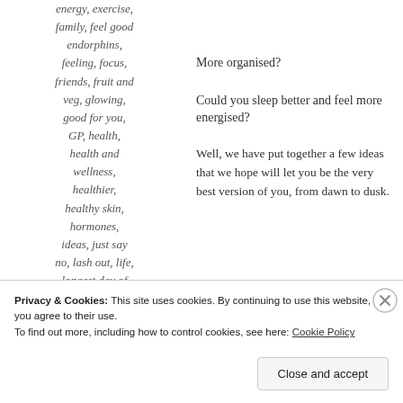energy, exercise, family, feel good endorphins, feeling, focus, friends, fruit and veg, glowing, good for you, GP, health, health and wellness, healthier, healthy skin, hormones, ideas, just say no, lash out, life, longest day of
More organised?
Could you sleep better and feel more energised?
Well, we have put together a few ideas that we hope will let you be the very best version of you, from dawn to dusk.
[Figure (infographic): Ad banner with teal triangle top-left, blue leaf shape top-right, bold text 'How to start selling subscriptions online', and a purple button below.]
Privacy & Cookies: This site uses cookies. By continuing to use this website, you agree to their use. To find out more, including how to control cookies, see here: Cookie Policy
Close and accept